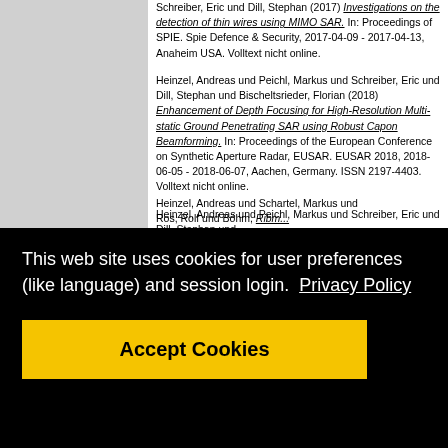Schreiber, Eric und Dill, Stephan (2017) Investigations on the detection of thin wires using MIMO SAR. In: Proceedings of SPIE. Spie Defence & Security, 2017-04-09 - 2017-04-13, Anaheim USA. Volltext nicht online.
Heinzel, Andreas und Peichl, Markus und Schreiber, Eric und Dill, Stephan und Bischeltsrieder, Florian (2018) Enhancement of Depth Focusing for High-Resolution Multi-static Ground Penetrating SAR using Robust Capon Beamforming. In: Proceedings of the European Conference on Synthetic Aperture Radar, EUSAR. EUSAR 2018, 2018-06-05 - 2018-06-07, Aachen, Germany. ISSN 2197-4403. Volltext nicht online.
Heinzel, Andreas und Peichl, Markus und Schreiber, Eric und Dill, Stephan und ... [partially obscured by cookie banner]
This web site uses cookies for user preferences (like language) and session login. Privacy Policy
Accept Cookies
Heinzel, Andreas und Schartel, Markus und ...